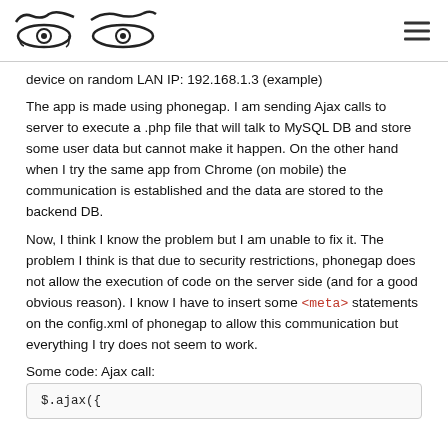[logo: two stylized eyes icons] [hamburger menu]
device on random LAN IP: 192.168.1.3 (example)
The app is made using phonegap. I am sending Ajax calls to server to execute a .php file that will talk to MySQL DB and store some user data but cannot make it happen. On the other hand when I try the same app from Chrome (on mobile) the communication is established and the data are stored to the backend DB.
Now, I think I know the problem but I am unable to fix it. The problem I think is that due to security restrictions, phonegap does not allow the execution of code on the server side (and for a good obvious reason). I know I have to insert some <meta> statements on the config.xml of phonegap to allow this communication but everything I try does not seem to work.
Some code: Ajax call:
$.ajax({